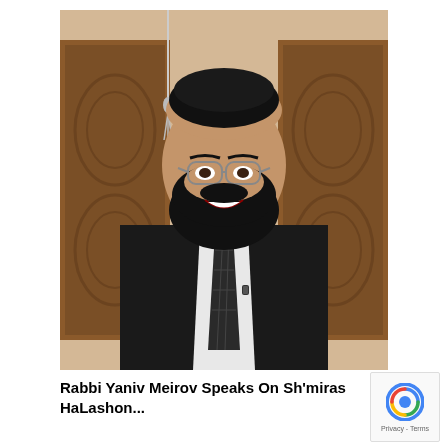[Figure (photo): A bearded Jewish rabbi wearing a black kippah, glasses, dark suit jacket, white shirt and a checkered tie, smiling at the camera. He is seated in front of ornate wooden carved panels. The photo is a video thumbnail style image.]
Rabbi Yaniv Meirov Speaks On Sh'miras HaLashon...